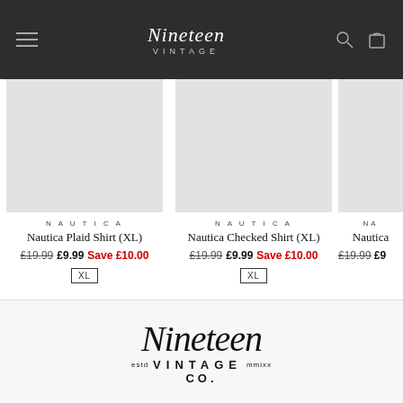Nineteen Vintage — navigation bar
[Figure (screenshot): Product card: Nautica Plaid Shirt (XL), grey placeholder image]
NAUTICA
Nautica Plaid Shirt (XL)
£19.99  £9.99  Save £10.00
XL
[Figure (screenshot): Product card: Nautica Checked Shirt (XL), grey placeholder image]
NAUTICA
Nautica Checked Shirt (XL)
£19.99  £9.99  Save £10.00
XL
[Figure (screenshot): Partial product card: Nautica item, grey placeholder image, partially cropped]
NA
Nautica...
£19.99  £9...
[Figure (logo): Nineteen Vintage Co. logo — script 'Nineteen' with 'VINTAGE CO.' below, 'estd' and 'mmixx' flanking]